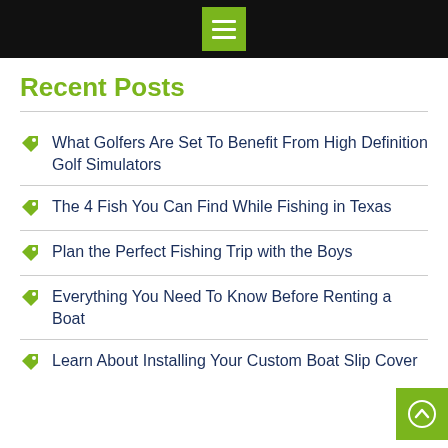Menu
Recent Posts
What Golfers Are Set To Benefit From High Definition Golf Simulators
The 4 Fish You Can Find While Fishing in Texas
Plan the Perfect Fishing Trip with the Boys
Everything You Need To Know Before Renting a Boat
Learn About Installing Your Custom Boat Slip Cover